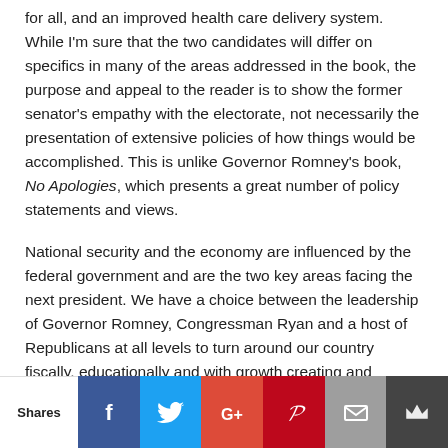for all, and an improved health care delivery system.  While I'm sure that the two candidates will differ on specifics in many of the areas addressed in the book, the purpose and appeal to the reader is to show the former senator's empathy with the electorate, not necessarily the presentation of extensive policies of how things would be accomplished.  This is unlike Governor Romney's book, No Apologies, which presents a great number of policy statements and views.
National security and the economy are influenced by the federal government and are the two key areas facing the next president.  We have a choice between the leadership of Governor Romney, Congressman Ryan and a host of Republicans at all levels to turn around our country fiscally, educationally and with growth creating and sustaining jobs as did President Reagan or continuing on the downward path led by President Oba...
[Figure (other): Social sharing bar with icons for Facebook, Twitter, Google+, Pinterest, Email, and a crown/bookmark icon. Labeled 'Shares' on the left.]